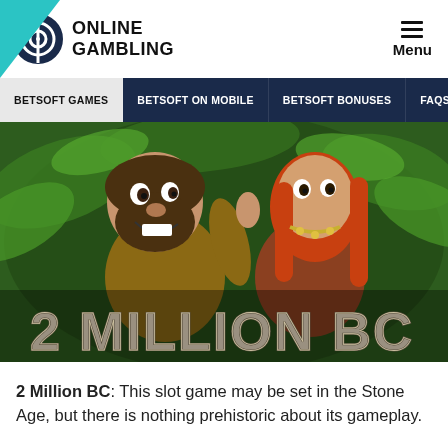Online Gambling | Menu
BETSOFT GAMES | BETSOFT ON MOBILE | BETSOFT BONUSES | FAQS
[Figure (illustration): 2 Million BC slot game promotional image showing two cartoon caveman characters — a male caveman giving thumbs up and a female cavewoman — in a jungle setting with stone lettering reading '2 MILLION BC']
2 Million BC: This slot game may be set in the Stone Age, but there is nothing prehistoric about its gameplay.